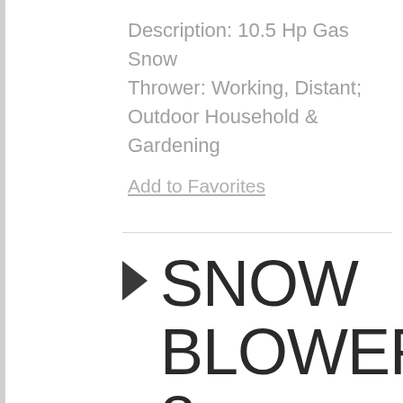Description: 10.5 Hp Gas Snow Thrower: Working, Distant; Outdoor Household & Gardening
Add to Favorites
SNOW BLOWER 8
by Soundideas  |  wav  |